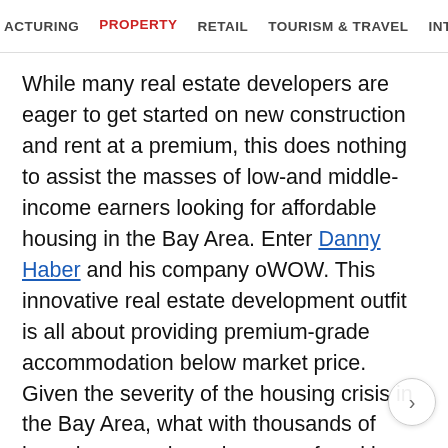ACTURING   PROPERTY   RETAIL   TOURISM & TRAVEL   INTERNATIONAL
While many real estate developers are eager to get started on new construction and rent at a premium, this does nothing to assist the masses of low-and middle-income earners looking for affordable housing in the Bay Area. Enter Danny Haber and his company oWOW. This innovative real estate development outfit is all about providing premium-grade accommodation below market price. Given the severity of the housing crisis in the Bay Area, what with thousands of homeless people and scores of working-class people who simply cannot afford to pay their rentals, developers like Haber have been hard at work with affordable housing projects. oWOW is different to other development companies, since it is a vertically integrated development, design, and construction corporation geared towards top-tier liv The company makes use of adaptable and affordable